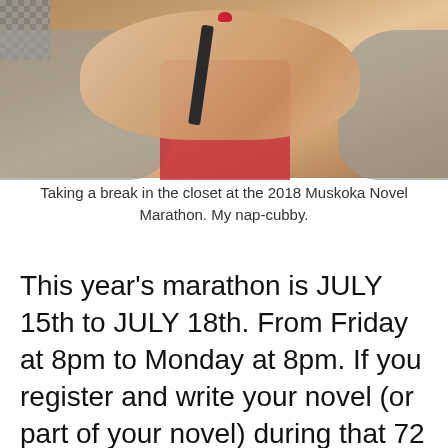[Figure (photo): A person taking a break in a closet at the 2018 Muskoka Novel Marathon, holding a phone, wearing a red shirt and gray cardigan, with red nail polish visible.]
Taking a break in the closet at the 2018 Muskoka Novel Marathon. My nap-cubby.
This year's marathon is JULY 15th to JULY 18th. From Friday at 8pm to Monday at 8pm. If you register and write your novel (or part of your novel) during that 72 hour period, you can submit it at the end of the weekend. It goes to an industry panel of judges and a BEST NOVEL AWARD is chosen for MG/YA and ADULT manuscripts. Winners get prizes and